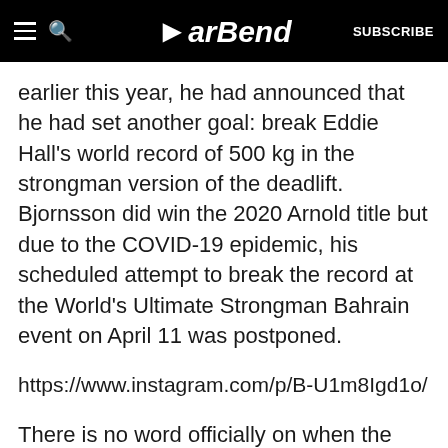BarBend | SUBSCRIBE
earlier this year, he had announced that he had set another goal: break Eddie Hall's world record of 500 kg in the strongman version of the deadlift. Bjornsson did win the 2020 Arnold title but due to the COVID-19 epidemic, his scheduled attempt to break the record at the World's Ultimate Strongman Bahrain event on April 11 was postponed.
https://www.instagram.com/p/B-U1m8Igd1o/
There is no word officially on when the